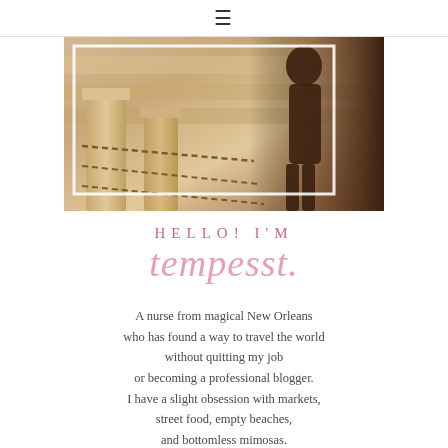≡
[Figure (photo): Sepia-toned photograph of stone columns/steps with chains and a dark silhouette of a person on the right side, with a white border frame overlay]
HELLO! I'M tempesst.
A nurse from magical New Orleans who has found a way to travel the world without quitting my job or becoming a professional blogger. I have a slight obsession with markets, street food, empty beaches, and bottomless mimosas. Here is where I share my adventures